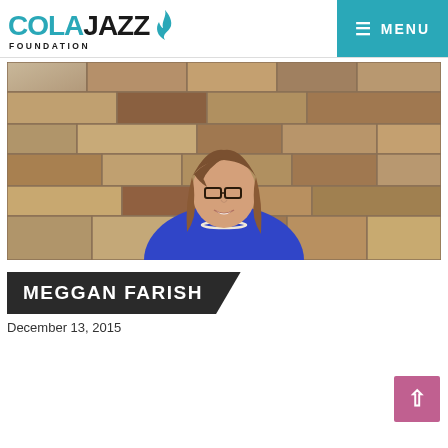COLA JAZZ FOUNDATION — MENU
[Figure (photo): Portrait photo of Meggan Farish, a woman with shoulder-length brown hair and glasses, wearing a blue sleeveless top, standing in front of a stone wall background.]
MEGGAN FARISH
December 13, 2015